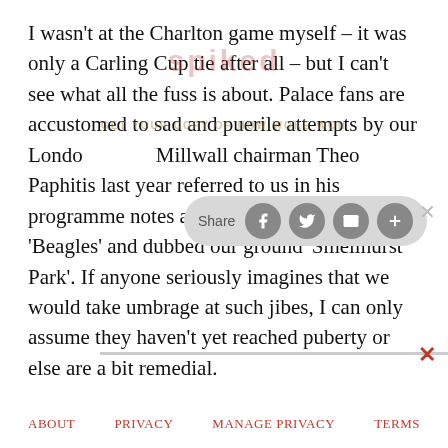I wasn't at the Charlton game myself – it was only a Carling Cup tie after all – but I can't see what all the fuss is about. Palace fans are accustomed to sad and puerile attempts by our London rivals. Millwall chairman Theo Paphitis last year referred to us in his programme notes as 'Crippled Alice' and the 'Beagles' and dubbed our ground 'Smellhurst Park'. If anyone seriously imagines that we would take umbrage at such jibes, I can only assume they haven't yet reached puberty or else are a bit remedial.
ABOUT   PRIVACY   MANAGE PRIVACY   TERMS